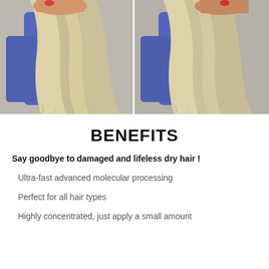[Figure (photo): Two side-by-side photos of long blonde straight hair being held and fanned out, with a blue object visible in the background. Before and after style comparison of hair.]
BENEFITS
Say goodbye to damaged and lifeless dry hair !
Ultra-fast advanced molecular processing
Perfect for all hair types
Highly concentrated, just apply a small amount